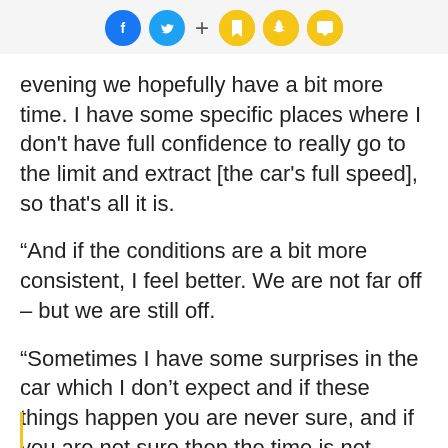Social sharing icons: Facebook, Twitter, plus, bookmark, Snapchat, chat
evening we hopefully have a bit more time. I have some specific places where I don't have full confidence to really go to the limit and extract [the car's full speed], so that's all it is.
“And if the conditions are a bit more consistent, I feel better. We are not far off – but we are still off.
“Sometimes I have some surprises in the car which I don’t expect and if these things happen you are never sure, and if you are not sure then the time is not coming.
“I am sure we will work overnight to improve for tomorrow. We are still away but not too far away. Let’s see if we can come back tomorrow.”